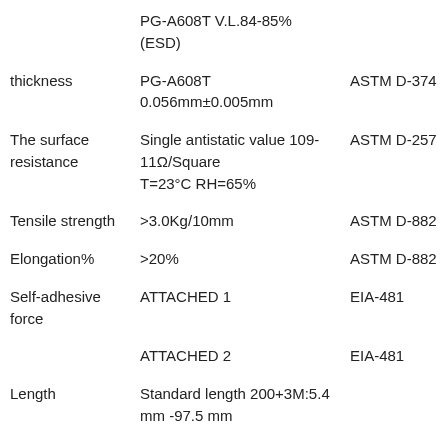| Property | Value | Standard |
| --- | --- | --- |
|  | PG-A608T V.L.84-85%(ESD) |  |
| thickness | PG-A608T
0.056mm±0.005mm | ASTM D-374 |
| The surface resistance | Single antistatic value 109-11Ω/Square
T=23°C RH=65% | ASTM D-257 |
| Tensile strength | >3.0Kg/10mm | ASTM D-882 |
| Elongation% | >20% | ASTM D-882 |
| Self-adhesive force | ATTACHED 1 | EIA-481 |
|  | ATTACHED 2 | EIA-481 |
| Length | Standard length 200+3M:5.4 mm -97.5 mm |  |